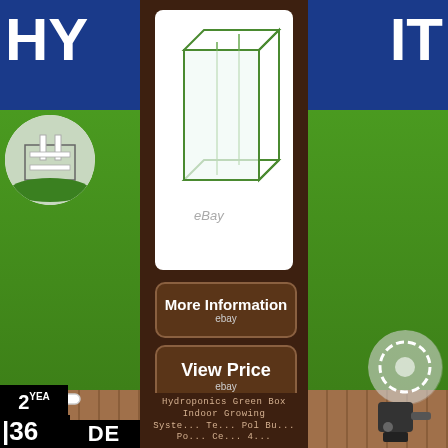[Figure (screenshot): eBay product listing screenshot showing a hydroponics green box / indoor growing system. Center panel has dark brown background with product image of a transparent box frame, two buttons (More Information and View Price, both labeled 'ebay'), and product caption. Left side shows blue header with 'HY', green lawn, circular image of hydroponics system, white pipe fitting. Right side shows blue header with 'IT', green lawn, circular equipment image. Bottom has warranty badge '2 YEA WARRA', number '36', 'DE' badge.]
Hydroponics Green Box Indoor Growing
Syste... Te... Pol Bu... Po... Ce... 4...